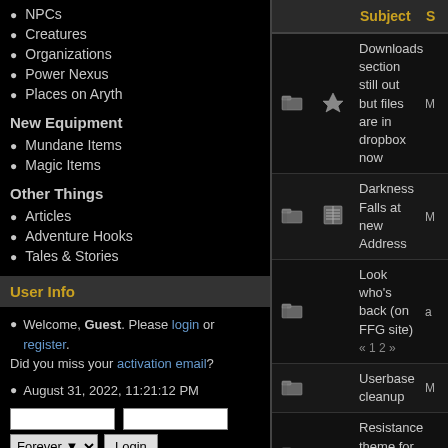NPCs
Creatures
Organizations
Power Nexus
Places on Aryth
New Equipment
Mundane Items
Magic Items
Other Things
Articles
Adventure Hooks
Tales & Stories
User Info
Welcome, Guest. Please login or register. Did you miss your activation email?
August 31, 2022, 11:21:12 PM
Login with username, password and session length
|  |  | Subject | S |
| --- | --- | --- | --- |
| folder | thumbsup | Downloads section still out but files are in dropbox now | M |
| folder | doc | Darkness Falls at new Address | M |
| folder |  | Look who's back (on FFG site) « 1 2 » | a |
| folder |  | Userbase cleanup | M |
| folder |  | Resistance theme for AtS « 1 2 » | D |